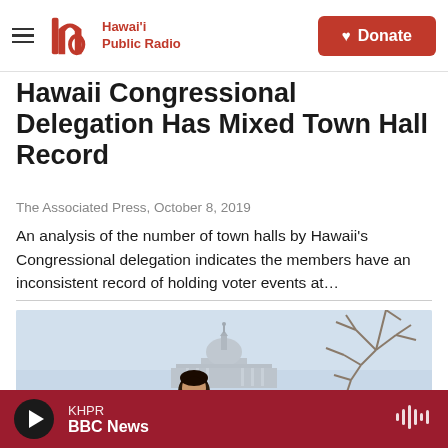Hawai'i Public Radio — Donate
Hawaii Congressional Delegation Has Mixed Town Hall Record
The Associated Press,  October 8, 2019
An analysis of the number of town halls by Hawaii's Congressional delegation indicates the members have an inconsistent record of holding voter events at…
[Figure (photo): Photo of a person (likely a politician) standing in front of the US Capitol building with bare tree branches visible in the upper right corner. Light blue/grey sky in background.]
KHPR  BBC News